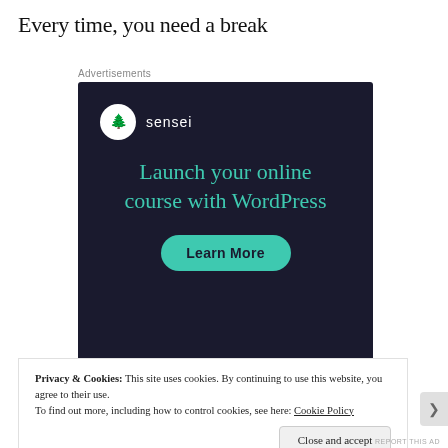Every time, you need a break
Advertisements
[Figure (other): Sensei advertisement banner with dark navy background. Shows Sensei logo (tree icon in white circle) with text 'sensei'. Large teal heading: 'Launch your online course with WordPress'. Teal rounded button labeled 'Learn More'.]
Privacy & Cookies: This site uses cookies. By continuing to use this website, you agree to their use.
To find out more, including how to control cookies, see here: Cookie Policy
Close and accept